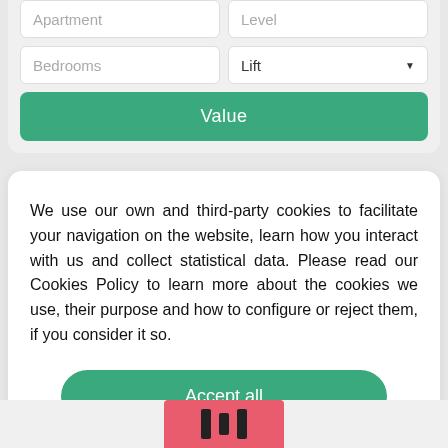[Figure (screenshot): Form panel with Apartment/Level dropdowns, Bedrooms input, Lift dropdown, and a green Value button]
We use our own and third-party cookies to facilitate your navigation on the website, learn how you interact with us and collect statistical data. Please read our Cookies Policy to learn more about the cookies we use, their purpose and how to configure or reject them, if you consider it so.
Accept all
Manage Cookies
Reject